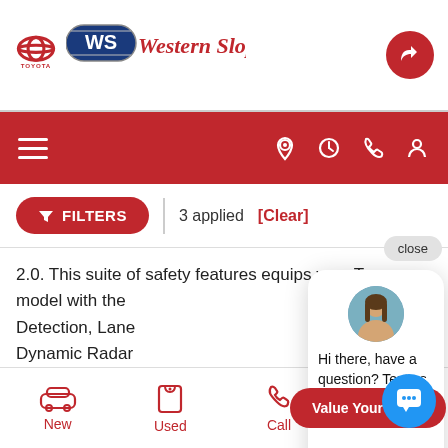[Figure (logo): Toyota and Western Slope Auto dealership logo with a share button on the right]
[Figure (screenshot): Red navigation bar with hamburger menu on left and location, clock, phone, and user icons on right]
[Figure (screenshot): Filter bar with red FILTERS button showing 3 applied and a Clear link]
2.0. This suite of safety features equips your Toyota model with the [cut] Detection, Lane [cut] Dynamic Radar [cut] engineering is d[cut] continues its legacy in reliabilit[cut] Western Slope Auto has over a h[cut] of commitment to our customers and we believe you
[Figure (screenshot): Chat popup with agent avatar saying Hi there, have a question? Text us here., a close button, a Value Your Trade button, and a blue chat icon]
[Figure (screenshot): Bottom navigation bar with New, Used, Call, and Service icons in red]